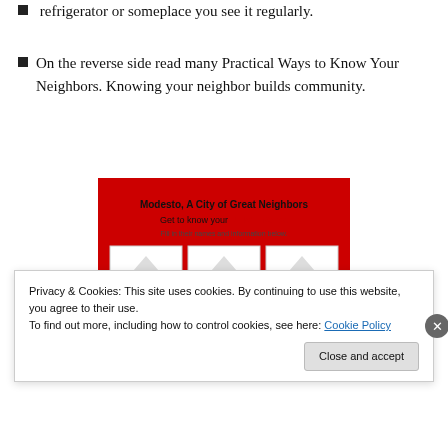refrigerator or someplace you see it regularly.
On the reverse side read many Practical Ways to Know Your Neighbors. Knowing your neighbor builds community.
[Figure (illustration): Modesto A City of Great Neighbors card with house icons and neighbor info grid]
Privacy & Cookies: This site uses cookies. By continuing to use this website, you agree to their use. To find out more, including how to control cookies, see here: Cookie Policy